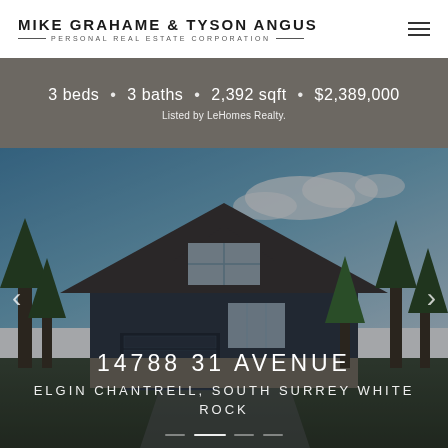MIKE GRAHAME & TYSON ANGUS — PERSONAL REAL ESTATE CORPORATION
3 beds • 3 baths • 2,392 sqft • $2,389,000
Listed by LeHomes Realty.
[Figure (photo): Exterior photo of a two-storey craftsman-style house with dark grey siding, peaked roof, stone accents, large bay windows and double garage door, surrounded by evergreen trees under a partly cloudy blue sky. Navigation arrows visible on left and right sides.]
14788 31 AVENUE
ELGIN CHANTRELL, SOUTH SURREY WHITE ROCK